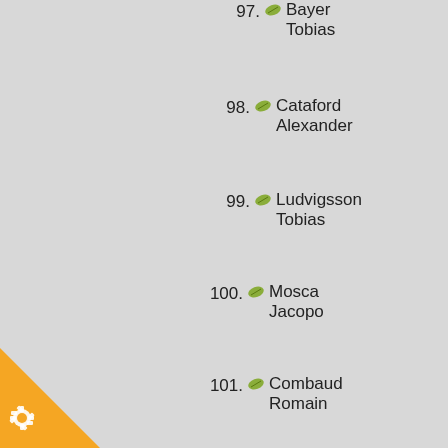97. Bayer Tobias
98. Cataford Alexander
99. Ludvigsson Tobias
100. Mosca Jacopo
101. Combaud Romain
102. De Gendt Aimé
103. Rastelli Luca
104. Craddock Lawson
105. Gamper Patrick